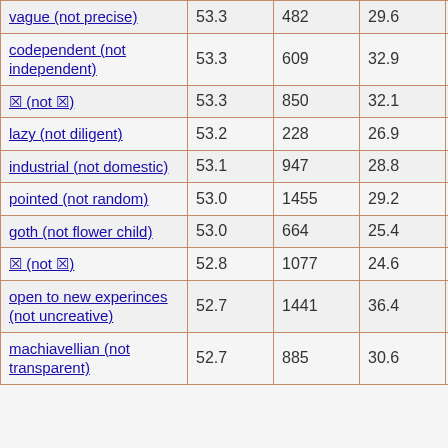| vague (not precise) | 53.3 | 482 | 29.6 | 29 |
| codependent (not independent) | 53.3 | 609 | 32.9 | 22 |
| ? (not ?) | 53.3 | 850 | 32.1 | 27 |
| lazy (not diligent) | 53.2 | 228 | 26.9 | 30 |
| industrial (not domestic) | 53.1 | 947 | 28.8 | 20 |
| pointed (not random) | 53.0 | 1455 | 29.2 | 30 |
| goth (not flower child) | 53.0 | 664 | 25.4 | 22 |
| ? (not ?) | 52.8 | 1077 | 24.6 | 22 |
| open to new experinces (not uncreative) | 52.7 | 1441 | 36.4 | 20 |
| machiavellian (not transparent) | 52.7 | 885 | 30.6 | 28 |